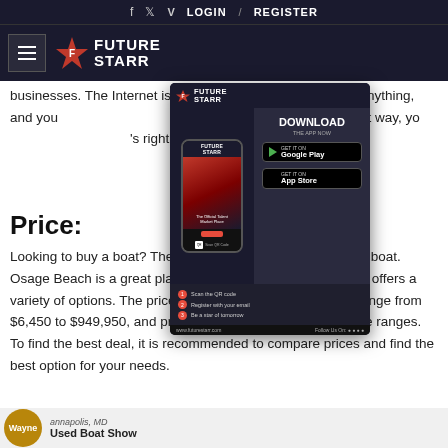f  t  v  LOGIN  /  REGISTER
[Figure (logo): Future Starr logo with hamburger menu icon on dark navy background]
businesses. The Internet is a great place to find just about anything, and you can search for boats near you. That way, you can find what's right for you, without having to
[Figure (screenshot): Future Starr app download popup advertisement showing phone mockup, Download The App Now text, Google Play and App Store buttons, QR code, and steps to scan]
Price:
Looking to buy a boat? There are many options for buying a boat. Osage Beach is a great place to purchase a boat because it offers a variety of options. The price of boats in Osage Beach can range from $6,450 to $949,950, and prices can be found in various price ranges. To find the best deal, it is recommended to compare prices and find the best option for your needs.
[Figure (screenshot): Bottom strip showing a user profile with avatar, location annapolis, MD and Used Boat Show text]